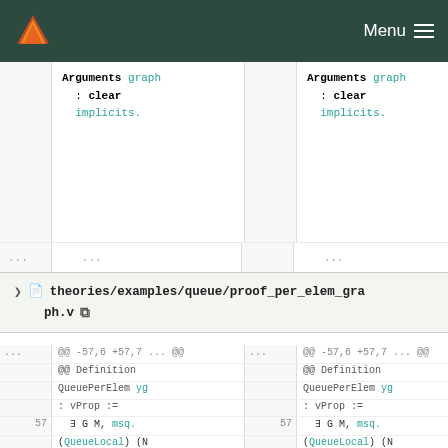Menu
Arguments graph
: clear
implicits.
...

Arguments graph
: clear
implicits.
...
theories/examples/queue/proof_per_elem_graph.v
@@ -57,6 +57,7 ... @@ Definition QueuePerElem yg : vProp :=
57   ∃ G M, msq. (QueueLocal) (N .@ "que") γg q G M *
58        inv (N .@ "iinv") (QueuePerElemIn v γg).

@@ -57,6 +57,7 ... @@ Definition QueuePerElem yg : vProp :=
57   ∃ G M, msq. (QueueLocal) (N .@ "que") γg q G M *
58        inv (N .@ "iinv") (QueuePerElemIn v γg).